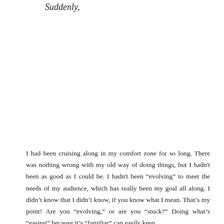Suddenly,
I had been cruising along in my comfort zone for so long. There was nothing wrong with my old way of doing things, but I hadn't been as good as I could be. I hadn't been “evolving” to meet the needs of my audience, which has really been my goal all along. I didn't know that I didn't know, if you know what I mean. That’s my point! Are you “evolving,” or are you “stuck?” Doing what’s “easiest” because it’s “familiar” can easily keep